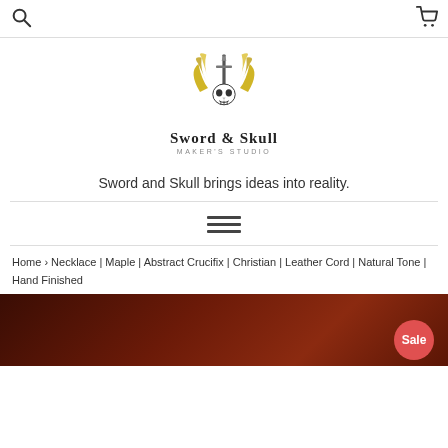Search | Cart
[Figure (logo): Sword & Skull Maker's Studio logo — skull with wings and sword, gold and black]
Sword and Skull brings ideas into reality.
[Figure (other): Hamburger menu icon (three horizontal lines)]
Home > Necklace | Maple | Abstract Crucifix | Christian | Leather Cord | Natural Tone | Hand Finished
[Figure (photo): Product photo — dark brown wood background with red Sale badge in bottom right]